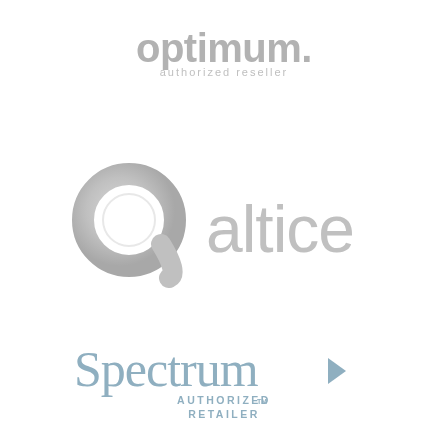[Figure (logo): Optimum authorized reseller logo in gray. Text reads 'optimum.' in bold with 'authorized reseller' below in smaller text.]
[Figure (logo): Altice logo in gray, featuring a stylized alpha/circle symbol on the left and the word 'altice' in gray sans-serif on the right.]
[Figure (logo): Spectrum Authorized Retailer logo in muted blue-gray. Features the Spectrum wordmark with a right-pointing triangle/arrow, and 'AUTHORIZED RETAILER' below with a TM mark.]